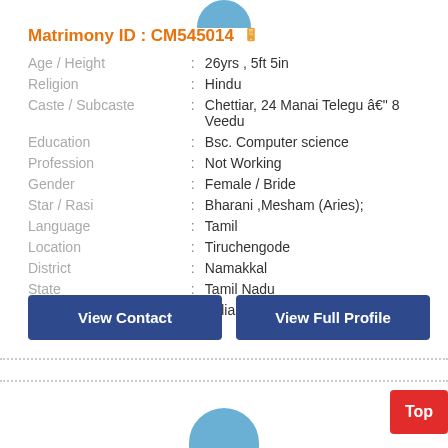Matrimony ID : CM545014
| Field | : | Value |
| --- | --- | --- |
| Age / Height | : | 26yrs , 5ft 5in |
| Religion | : | Hindu |
| Caste / Subcaste | : | Chettiar, 24 Manai Telegu â€" 8 Veedu |
| Education | : | Bsc. Computer science |
| Profession | : | Not Working |
| Gender | : | Female / Bride |
| Star / Rasi | : | Bharani ,Mesham (Aries); |
| Language | : | Tamil |
| Location | : | Tiruchengode |
| District | : | Namakkal |
| State | : | Tamil Nadu |
| Country | : | India |
View Contact
View Full Profile